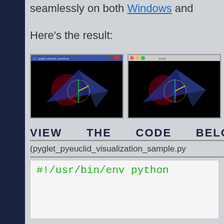seamlessly on both Windows and
Here's the result:
[Figure (screenshot): Two side-by-side screenshots of a pyglet/pyeuclid 3D visualization showing geometric shapes (triangle, circle, lines) on a black background — left screenshot from Windows, right from another OS.]
VIEW THE CODE BELO
(pyglet_pyeuclid_visualization_sample.py
#!/usr/bin/env python